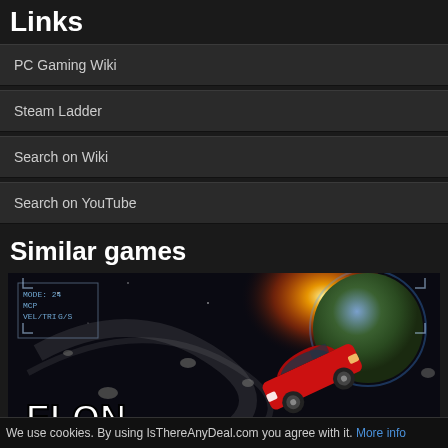Links
PC Gaming Wiki
Steam Ladder
Search on Wiki
Search on YouTube
Similar games
[Figure (screenshot): Game cover art for 'Elon on Mars' showing a red sports car flying through space with a planet in the background, with text overlays 'MODE: 24', 'MCP', 'VEL/TRI', 'G/S' in the upper left]
We use cookies. By using IsThereAnyDeal.com you agree with it. More info